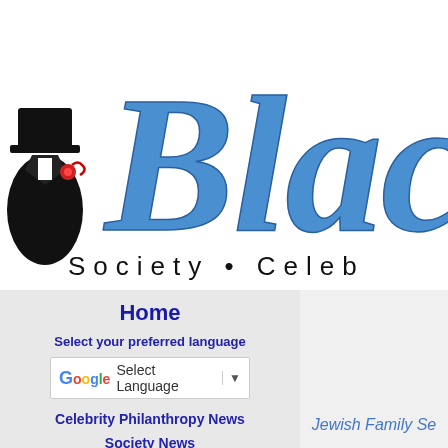[Figure (logo): BlackTie magazine website header logo. Large decorative blue italic script text reading 'Black' with a figure in black coat and top hat holding something with a red element on the left. Below the script text reads 'Society • Celeb' in spaced sans-serif letters. Logo is cropped on the right side.]
Home
Select your preferred language
[Figure (screenshot): Google Translate widget showing 'G' logo with colorful letters followed by 'Select Language' text and a dropdown arrow button]
Celebrity Philanthropy News
Society News
Jewish Family Se